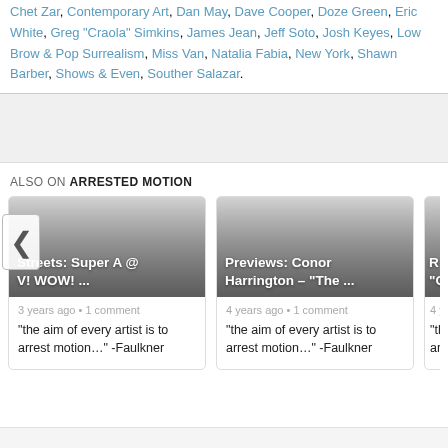Chet Zar, Contemporary Art, Dan May, Dave Cooper, Doze Green, Eric White, Greg "Craola" Simkins, James Jean, Jeff Soto, Josh Keyes, Low Brow & Pop Surrealism, Miss Van, Natalia Fabia, New York, Shawn Barber, Shows & Events, Souther Salazar.
ALSO ON ARRESTED MOTION
[Figure (screenshot): Card: Streets: Super A @ V! WOW! ... — 3 years ago • 1 comment — "the aim of every artist is to arrest motion..." -Faulkner]
[Figure (screenshot): Card: Previews: Conor Harrington – "The ..." — 4 years ago • 1 comment — "the aim of every artist is to arrest motion..." -Faulkner]
[Figure (screenshot): Partial card on right edge — 4 years ago...]